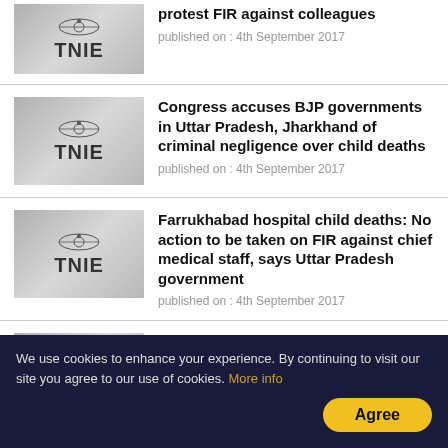[Figure (logo): TNIE logo on grey gradient background - partial/cropped at top]
protest FIR against colleagues
published on : 4th September 2017
[Figure (logo): TNIE logo on grey gradient background]
Congress accuses BJP governments in Uttar Pradesh, Jharkhand of criminal negligence over child deaths
published on : 4th September 2017
[Figure (logo): TNIE logo on grey gradient background]
Farrukhabad hospital child deaths: No action to be taken on FIR against chief medical staff, says Uttar Pradesh government
published on : 4th September 2017
[Figure (logo): TNIE logo on grey gradient background - partial at bottom]
Bengaluru horror: Deceased child was still breathing, gr...
We use cookies to enhance your experience. By continuing to visit our site you agree to our use of cookies. More info